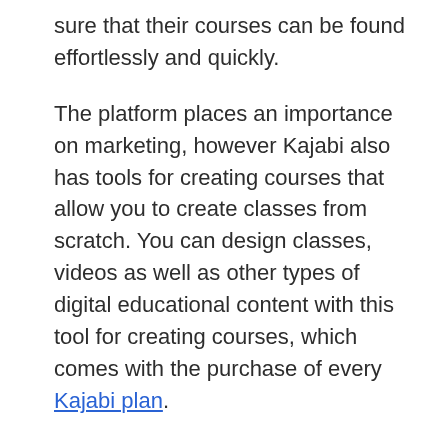sure that their courses can be found effortlessly and quickly.
The platform places an importance on marketing, however Kajabi also has tools for creating courses that allow you to create classes from scratch. You can design classes, videos as well as other types of digital educational content with this tool for creating courses, which comes with the purchase of every Kajabi plan.
The course selling business could be more effective due to the lead generation and launch tools offered by Kajabi. Efficient automation takes the guesswork out advertising campaigns.